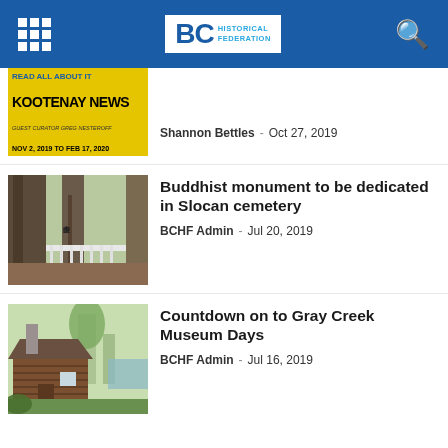BC Historical Federation
[Figure (screenshot): Kootenay News exhibition banner with yellow background, text: READ ALL ABOUT IT KOOTENAY NEWS, GUEST CURATOR GREG NESTEROFF, NOV 2, 2019 TO FEB 17, 2020]
Shannon Bettles  -  Oct 27, 2019
[Figure (photo): Trees with Japanese characters carved into bark, white fence in background]
Buddhist monument to be dedicated in Slocan cemetery
BCHF Admin  -  Jul 20, 2019
[Figure (photo): Log cabin building with trees and greenery in background]
Countdown on to Gray Creek Museum Days
BCHF Admin  -  Jul 16, 2019